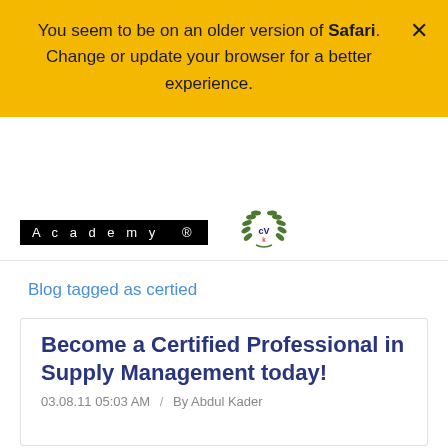You seem to be on an older version of Safari. Change or update your browser for a better experience.
[Figure (logo): Academy logo with black background and white text, and CVA wreath emblem]
Blog tagged as certied
Become a Certified Professional in Supply Management today!
03.08.11 05:03 AM  /  By Abdul Kader